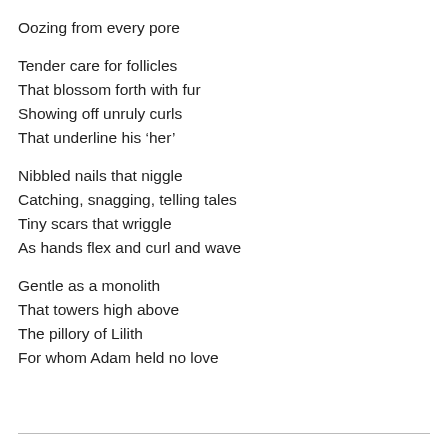Oozing from every pore
Tender care for follicles
That blossom forth with fur
Showing off unruly curls
That underline his ‘her’
Nibbled nails that niggle
Catching, snagging, telling tales
Tiny scars that wriggle
As hands flex and curl and wave
Gentle as a monolith
That towers high above
The pillory of Lilith
For whom Adam held no love